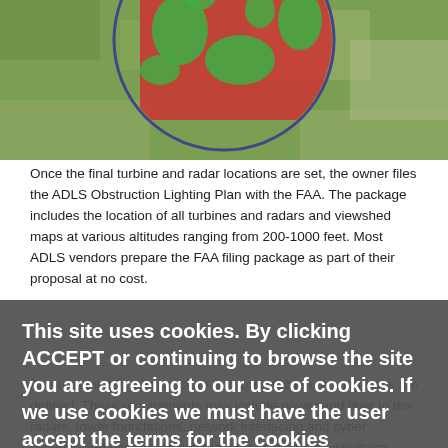[Figure (photo): Aerial/overhead photograph of grass terrain with a large circular overlay showing red and green areas, likely a viewshed or radar coverage map.]
Once the final turbine and radar locations are set, the owner files the ADLS Obstruction Lighting Plan with the FAA. The package includes the location of all turbines and radars and viewshed maps at various altitudes ranging from 200-1000 feet. Most ADLS vendors prepare the FAA filing package as part of their proposal at no cost.
At this point, the infrastructure and construction requirements are defined. These requirements may include power and fiber to the radars, tower foundations, network interfacing and cyber security, and obstruction lighting connection to the windfarm network. For older windfarms, the lighting may not be compatible or upgradable and may need to be replaced. Scope of work assignments can vary from an ADLS vendor supplying only the ADLS radar, and related services with a general contractor performing the construction-related tasks to full turnkey delivery (below).
This site uses cookies. By clicking ACCEPT or continuing to browse the site you are agreeing to our use of cookies. If we use cookies we must have the user accept the terms for the cookies
Accept